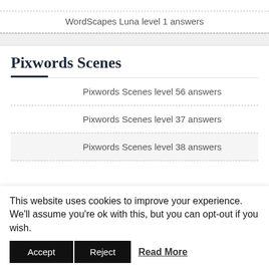WordScapes Luna level 1 answers
Pixwords Scenes
Pixwords Scenes level 56 answers
Pixwords Scenes level 37 answers
Pixwords Scenes level 38 answers
This website uses cookies to improve your experience. We'll assume you're ok with this, but you can opt-out if you wish.